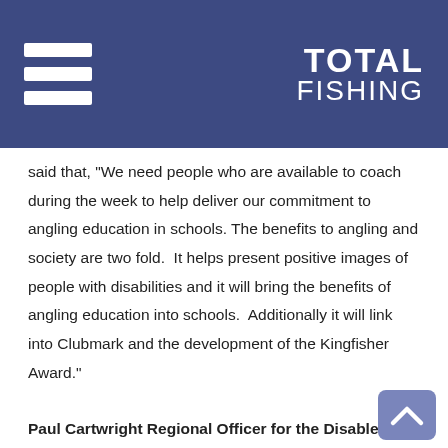TOTAL FISHING
said that, “We need people who are available to coach during the week to help deliver our commitment to angling education in schools. The benefits to angling and society are two fold.  It helps present positive images of people with disabilities and it will bring the benefits of angling education into schools.  Additionally it will link into Clubmark and the development of the Kingfisher Award.”
Paul Cartwright Regional Officer for the Disabled in the North East concurred when he said that “This is not just good news for disabled anglers, this is